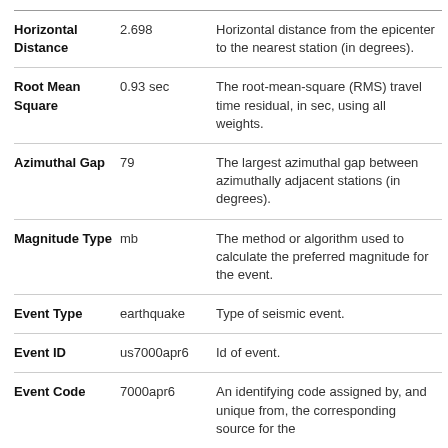| Feature | Example Value | Description |
| --- | --- | --- |
| Horizontal Distance | 2.698 | Horizontal distance from the epicenter to the nearest station (in degrees). |
| Root Mean Square | 0.93 sec | The root-mean-square (RMS) travel time residual, in sec, using all weights. |
| Azimuthal Gap | 79 | The largest azimuthal gap between azimuthally adjacent stations (in degrees). |
| Magnitude Type | mb | The method or algorithm used to calculate the preferred magnitude for the event. |
| Event Type | earthquake | Type of seismic event. |
| Event ID | us7000apr6 | Id of event. |
| Event Code | 7000apr6 | An identifying code assigned by, and unique from, the corresponding source for the |